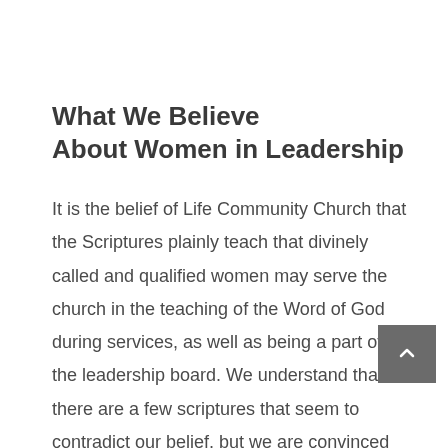What We Believe About Women in Leadership
It is the belief of Life Community Church that the Scriptures plainly teach that divinely called and qualified women may serve the church in the teaching of the Word of God during services, as well as being a part of the leadership board. We understand that there are a few scriptures that seem to contradict our belief, but we are convinced